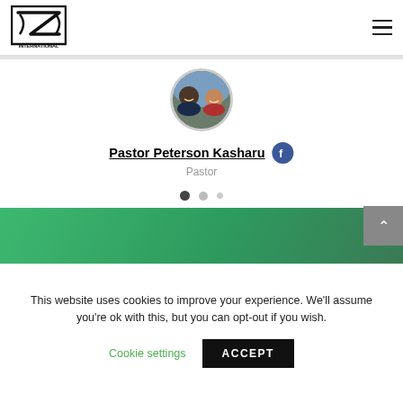[Figure (logo): International Children's Fund logo with hands graphic and text]
[Figure (photo): Circular profile photo of Pastor Peterson Kasharu with two people smiling]
Pastor Peterson Kasharu
Pastor
[Figure (other): Carousel navigation dots: one dark filled, one medium gray, one light small]
[Figure (illustration): Green gradient banner footer strip]
This website uses cookies to improve your experience. We'll assume you're ok with this, but you can opt-out if you wish.
Cookie settings
ACCEPT